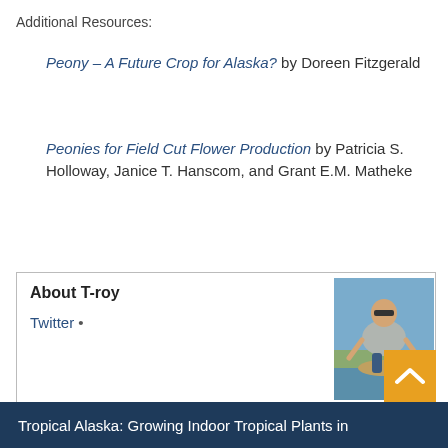Additional Resources:
Peony – A Future Crop for Alaska? by Doreen Fitzgerald
Peonies for Field Cut Flower Production by Patricia S. Holloway, Janice T. Hanscom, and Grant E.M. Matheke
About T-roy
Twitter •
[Figure (photo): Photo of T-roy, a man wearing sunglasses and holding a large fish while kneeling in water]
Flowers, Hints for Alaska Gardeners, Recommended Varieties, Southcentral Alaska  Alaskan Peony, Peony Varieties, Peony Varieties for Southcentral Alaska
Tropical Alaska: Growing Indoor Tropical Plants in